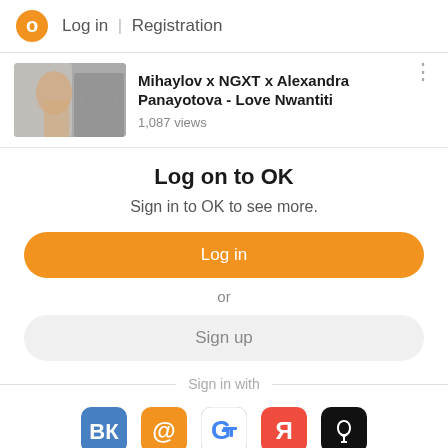Log in | Registration
[Figure (screenshot): Video thumbnail with timestamp 02:44 showing a woman, title: Mihaylov x NGXT x Alexandra Panayotova - Love Nwantiti, 1,087 views]
Log on to OK
Sign in to OK to see more.
Log in
or
Sign up
Sign in with
[Figure (logo): Social login icons: VK (blue), Mail.ru (orange @), Google (colorful G), Yandex (red Я), Apple (black apple)]